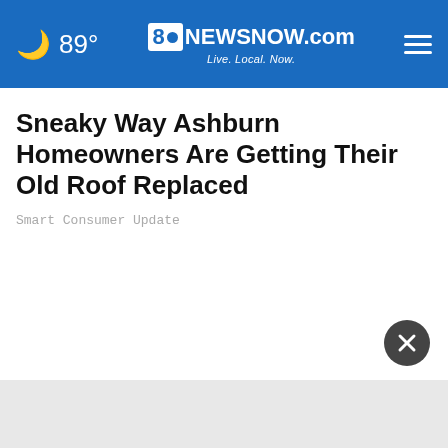89° 8 NEWSNOW.com Live. Local. Now.
Sneaky Way Ashburn Homeowners Are Getting Their Old Roof Replaced
Smart Consumer Update